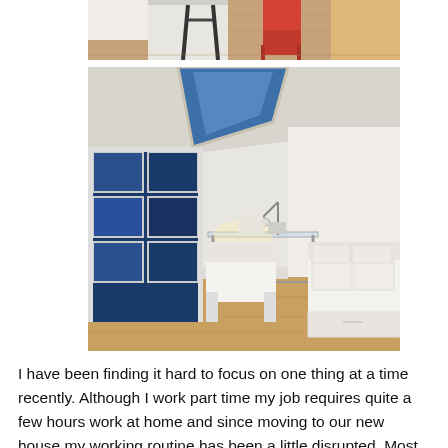[Figure (photo): Partial view of a room interior with wooden floor, a red chair, and what appears to be a kitchen island or tall white furniture piece with black metal legs. Top portion of the image is cut off.]
[Figure (photo): Interior room with a slanted ceiling featuring a skylight with blue lighting, large white-framed glass doors/windows showing night outside, a glass-top desk with a desk lamp, a white slipcovered chair, and a white sofa/daybed with storage drawers underneath. Warm ambient lighting. Wooden floor.]
I have been finding it hard to focus on one thing at a time recently. Although I work part time my job requires quite a few hours work at home and since moving to our new house my working routine has been a little disrupted. Most of the time I work in the kitchen but I'm